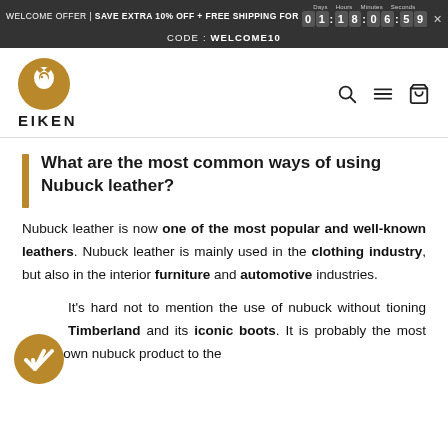WELCOME OFFER | SAVE EXTRA 10% OFF + FREE SHIPPING FOR 01:18:06:59
CODE: WELCOME10
[Figure (logo): Eiken brand logo: gold circle with white eagle silhouette, text EIKEN below]
What are the most common ways of using Nubuck leather?
Nubuck leather is now one of the most popular and well-known leathers. Nubuck leather is mainly used in the clothing industry, but also in the interior furniture and automotive industries.
It's hard not to mention the use of nubuck without mentioning Timberland and its iconic boots. It is probably the most well known nubuck product to the